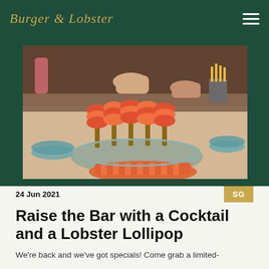Burger & Lobster
[Figure (photo): Restaurant table scene with lobster lollipop skewers on a plate, people reaching over to eat, with blue ceramic bowls and fries visible]
24 Jun 2021
SG
Raise the Bar with a Cocktail and a Lobster Lollipop
We're back and we've got specials! Come grab a limited-